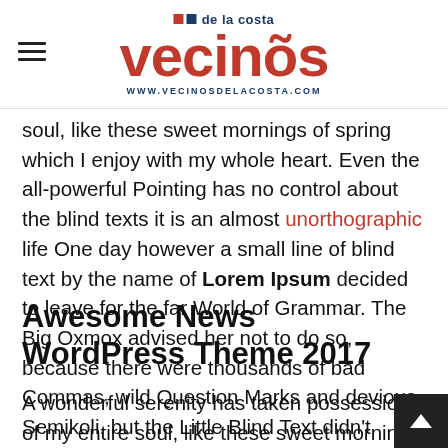vecinos de la costa — www.vecinosdelacosta.com
soul, like these sweet mornings of spring which I enjoy with my whole heart. Even the all-powerful Pointing has no control about the blind texts it is an almost unorthographic life One day however a small line of blind text by the name of Lorem Ipsum decided to leave for the far World of Grammar. The Big Oxmox advised her not to do so, because there were thousands of bad Commas, wild Question Marks and devious Semikoli, but the Little Blind Text didn't listen.
Awesome News WordPress Theme 2017
A wonderful serenity has taken possession of my entire soul, like these sweet mornings of spring which I enjoy with my whole heart. I am alone, and feel the charm of